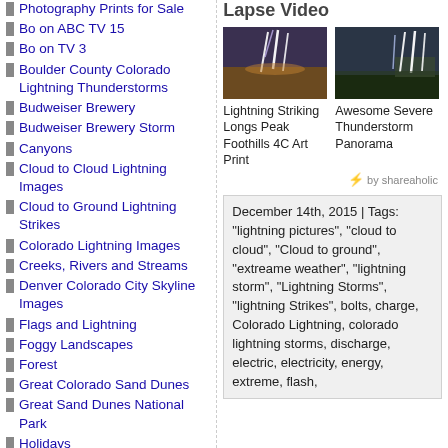Photography Prints for Sale
Bo on ABC TV 15
Bo on TV 3
Boulder County Colorado Lightning Thunderstorms
Budweiser Brewery
Budweiser Brewery Storm
Canyons
Cloud to Cloud Lightning Images
Cloud to Ground Lightning Strikes
Colorado Lightning Images
Creeks, Rivers and Streams
Denver Colorado City Skyline Images
Flags and Lightning
Foggy Landscapes
Forest
Great Colorado Sand Dunes
Great Sand Dunes National Park
Holidays
Horses
Hot Air Balloons
How to Be a Storm Chaser
Landscapes
Larimer County Lightning
Lapse Video
[Figure (photo): Lightning striking Longs Peak foothills]
Lightning Striking Longs Peak Foothills 4C Art Print
[Figure (photo): Awesome severe thunderstorm panorama]
Awesome Severe Thunderstorm Panorama
by shareaholic
December 14th, 2015 | Tags: "lightning pictures", "cloud to cloud", "Cloud to ground", "extreame weather", "lightning storm", "Lightning Storms", "lightning Strikes", bolts, charge, Colorado Lightning, colorado lightning storms, discharge, electric, electricity, energy, extreme, flash,